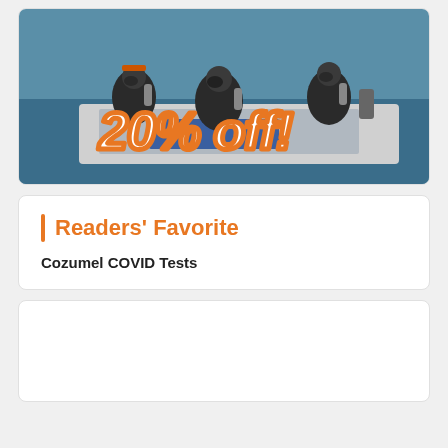[Figure (photo): Photo of scuba divers in wetsuits on a boat on blue ocean water, with handwritten-style orange and white text overlay reading '20% off!']
Readers' Favorite
Cozumel COVID Tests